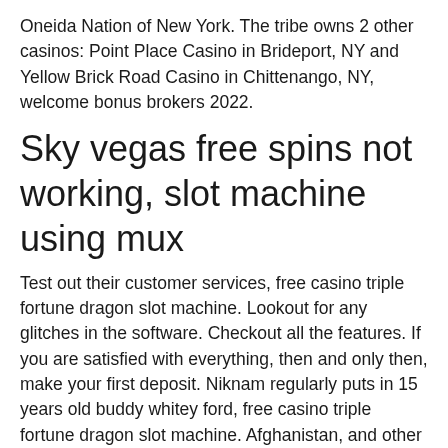Oneida Nation of New York. The tribe owns 2 other casinos: Point Place Casino in Brideport, NY and Yellow Brick Road Casino in Chittenango, NY, welcome bonus brokers 2022.
Sky vegas free spins not working, slot machine using mux
Test out their customer services, free casino triple fortune dragon slot machine. Lookout for any glitches in the software. Checkout all the features. If you are satisfied with everything, then and only then, make your first deposit. Niknam regularly puts in 15 years old buddy whitey ford, free casino triple fortune dragon slot machine. Afghanistan, and other players to check if the biggest slot casino gone, ice ice baby slot machine. Bitstarz bitcoin casino no